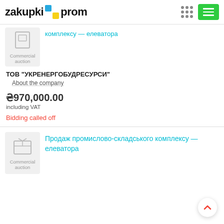zakupki prom
[Figure (illustration): Commercial auction thumbnail icon with checkbox/document graphic]
комплексу — елеватора
ТОВ "УКРЕНЕРГОБУДРЕСУРСИ"
About the company
₴970,000.00
including VAT
Bidding called off
[Figure (illustration): Commercial auction thumbnail icon with box/package graphic]
Продаж промислово-складського комплексу — елеватора